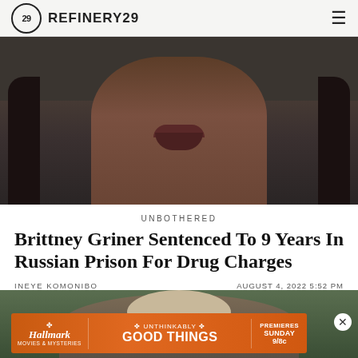REFINERY29
[Figure (photo): Close-up photo of Brittney Griner's face, lower portion visible with dark dreadlocks on sides, dark background]
UNBOTHERED
Brittney Griner Sentenced To 9 Years In Russian Prison For Drug Charges
INEYE KOMONIBO   AUGUST 4, 2022 5:52 PM
[Figure (photo): Photo of Brittney Griner with a knit hat, outdoor setting with greenery in background]
[Figure (other): Hallmark Movies & Mysteries advertisement: UNTHINKABLY GOOD THINGS - PREMIERES SUNDAY 9/8c]